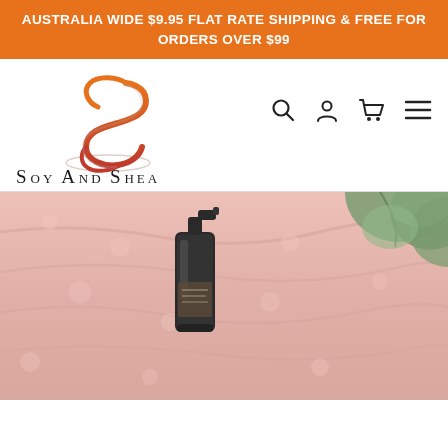AUSTRALIA WIDE $9.95 FLAT RATE SHIPPING & FREE FOR ORDERS OVER $99
[Figure (logo): Soy and Shea brand logo with orange stylized S and Soy And Shea text]
[Figure (photo): Product photo showing a dark glass spray bottle on a pink fluffy towel with green plants in the background]